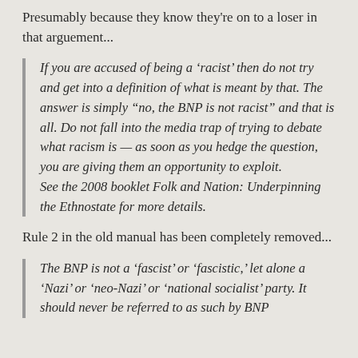Presumably because they know they're on to a loser in that arguement...
If you are accused of being a ‘racist’ then do not try and get into a definition of what is meant by that. The answer is simply “no, the BNP is not racist” and that is all. Do not fall into the media trap of trying to debate what racism is — as soon as you hedge the question, you are giving them an opportunity to exploit. See the 2008 booklet Folk and Nation: Underpinning the Ethnostate for more details.
Rule 2 in the old manual has been completely removed...
The BNP is not a ‘fascist’ or ‘fascistic,’ let alone a ‘Nazi’ or ‘neo-Nazi’ or ‘national socialist’ party. It should never be referred to as such by BNP